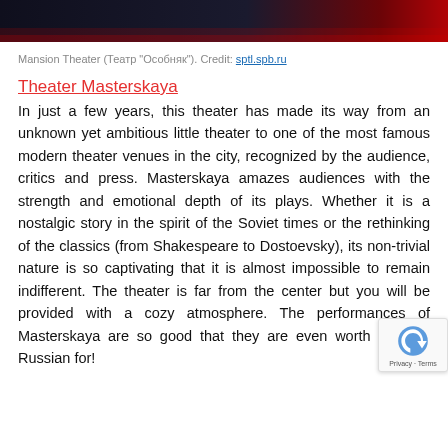[Figure (photo): Dark image bar at top of page showing a theater or similar venue with dark tones and red gradient]
Mansion Theater (Театр "Особняк"). Credit: sptl.spb.ru
Theater Masterskaya
In just a few years, this theater has made its way from an unknown yet ambitious little theater to one of the most famous modern theater venues in the city, recognized by the audience, critics and press. Masterskaya amazes audiences with the strength and emotional depth of its plays. Whether it is a nostalgic story in the spirit of the Soviet times or the rethinking of the classics (from Shakespeare to Dostoevsky), its non-trivial nature is so captivating that it is almost impossible to remain indifferent. The theater is far from the center but you will be provided with a cozy atmosphere. The performances of Masterskaya are so good that they are even worth learning Russian for!